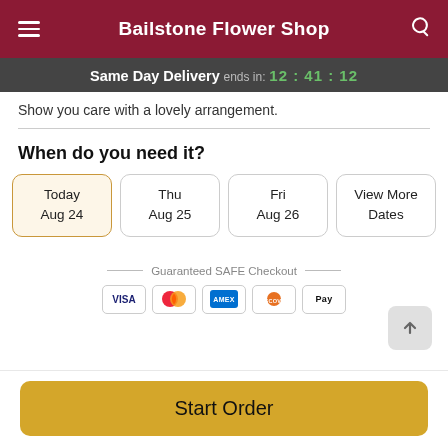Bailstone Flower Shop
Same Day Delivery ends in: 12:41:12
Show you care with a lovely arrangement.
When do you need it?
Today Aug 24
Thu Aug 25
Fri Aug 26
View More Dates
Guaranteed SAFE Checkout
Start Order